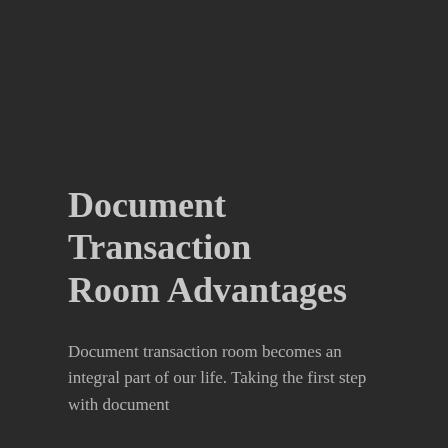Document Transaction Room Advantages
Document transaction room becomes an integral part of our life. Taking the first step with document